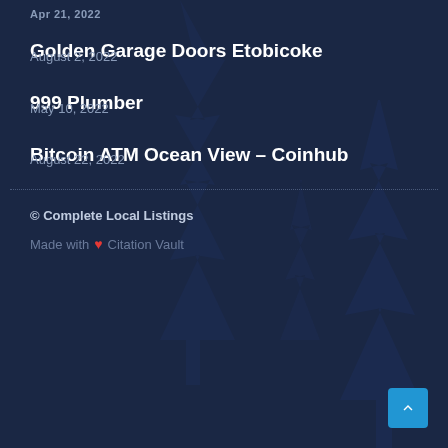Apr 21, 2022
Golden Garage Doors Etobicoke
August 2, 2022
999 Plumber
May 10, 2022
Bitcoin ATM Ocean View – Coinhub
August 22, 2022
© Complete Local Listings
Made with ❤ Citation Vault